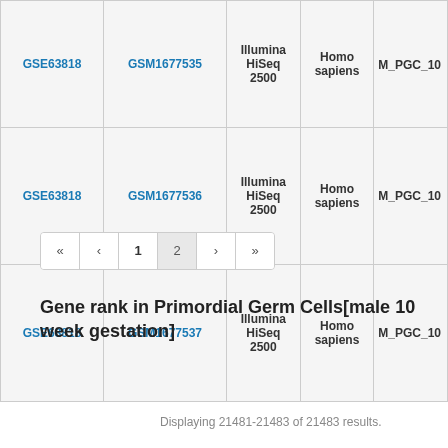| Series | Sample | Instrument | Organism | Sample Name |
| --- | --- | --- | --- | --- |
| GSE63818 | GSM1677535 | Illumina HiSeq 2500 | Homo sapiens | M_PGC_10... |
| GSE63818 | GSM1677536 | Illumina HiSeq 2500 | Homo sapiens | M_PGC_10... |
| GSE63818 | GSM1677537 | Illumina HiSeq 2500 | Homo sapiens | M_PGC_10... |
Pagination: « ‹ 1 2 › »
Gene rank in Primordial Germ Cells[male 10 week gestation]
Displaying 21481-21483 of 21483 results.